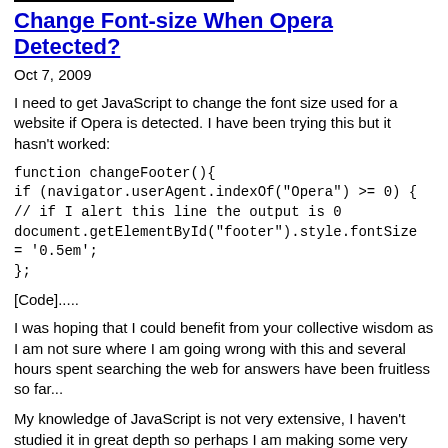Change Font-size When Opera Detected?
Oct 7, 2009
I need to get JavaScript to change the font size used for a website if Opera is detected. I have been trying this but it hasn't worked:
[Code].....
I was hoping that I could benefit from your collective wisdom as I am not sure where I am going wrong with this and several hours spent searching the web for answers have been fruitless so far...
My knowledge of JavaScript is not very extensive, I haven't studied it in great depth so perhaps I am making some very silly mistakes here.